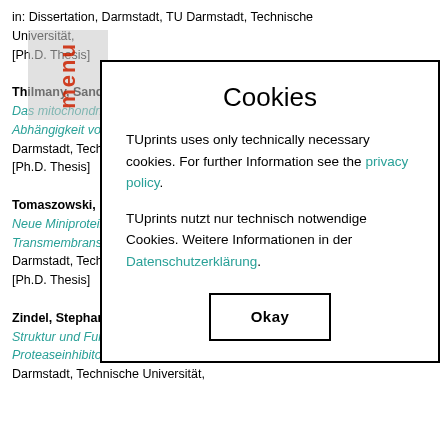in: Dissertation, Darmstadt, TU Darmstadt, Technische Universität,
[Ph.D. Thesis]
Thilmany, Sandra Cornelia (2013):
Das mitochondriale P...
Abhängigkeit von Alt...
Darmstadt, Technisc...
[Ph.D. Thesis]
Tomaszowski, Micha...
Neue Miniproteininhi...
Transmembranserinp...
Darmstadt, Technisc...
[Ph.D. Thesis]
Zindel, Stephan (20...
Struktur und Funktion...
Proteaseinhibitoren v...
Darmstadt, Technische Universität,
[Figure (screenshot): Cookie consent modal dialog overlaying a bibliography page. Title: 'Cookies'. Body text in English and German about TUprints using only technically necessary cookies, with links to 'privacy policy' and 'Datenschutzerklärung'. An 'Okay' button at the bottom.]